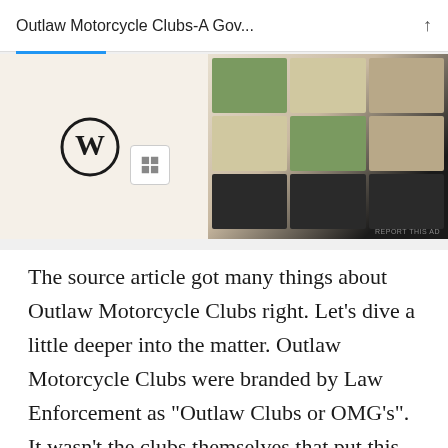Outlaw Motorcycle Clubs-A Gov...
[Figure (screenshot): Screenshot of a webpage showing a WordPress logo and food/cookbook advertisement image on a beige background with 'REPORT THIS AD' text]
The source article got many things about Outlaw Motorcycle Clubs right. Let’s dive a little deeper into the matter. Outlaw Motorcycle Clubs were branded by Law Enforcement as “Outlaw Clubs or OMG’s”. It wasn’t the clubs themselves that put this brand on their club but Law Enforcement. Why did they brand the clubs as OMGs? It’s simple . Clubs and the people inside them didn’t sit there and kiss the cops asses. They